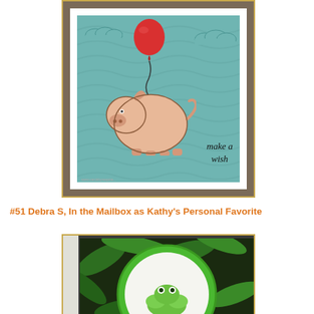[Figure (photo): Handmade greeting card showing a cartoon pig floating in a teal sky with a red balloon, clouds, and the text 'make a wish' in script. Card has white mat and aged/patterned background.]
#51 Debra S, In the Mailbox as Kathy's Personal Favorite
[Figure (photo): Handmade greeting card with green circular frame, tropical jungle leaf background, and a green frog visible in the lower portion. Card has zig-zag edge trim.]